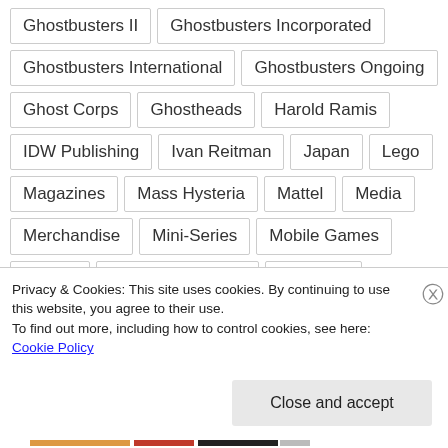Ghostbusters II
Ghostbusters Incorporated
Ghostbusters International
Ghostbusters Ongoing
Ghost Corps
Ghostheads
Harold Ramis
IDW Publishing
Ivan Reitman
Japan
Lego
Magazines
Mass Hysteria
Mattel
Media
Merchandise
Mini-Series
Mobile Games
Movies
New York Toy Fair
No Ghost
Privacy & Cookies: This site uses cookies. By continuing to use this website, you agree to their use.
To find out more, including how to control cookies, see here: Cookie Policy
Close and accept